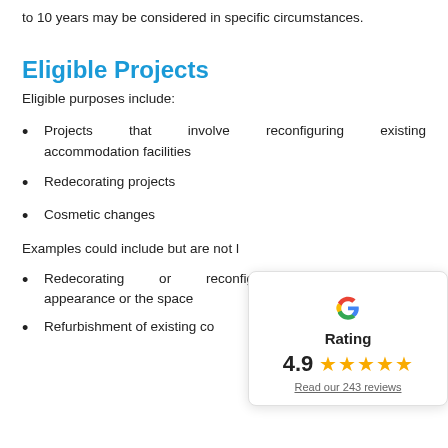to 10 years may be considered in specific circumstances.
Eligible Projects
Eligible purposes include:
Projects that involve reconfiguring existing accommodation facilities
Redecorating projects
Cosmetic changes
Examples could include but are not l
Redecorating or reconfiguring appearance or the space
Refurbishment of existing co
[Figure (infographic): Google Rating overlay showing 4.9 stars with 5 gold stars and a link to 243 reviews]